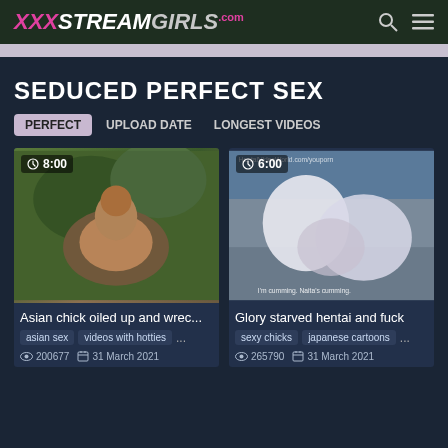XXXSTREAMGIRLS.com
SEDUCED PERFECT SEX
PERFECT | UPLOAD DATE | LONGEST VIDEOS
[Figure (photo): Video thumbnail: Asian woman oiled up outdoors, duration 8:00]
Asian chick oiled up and wrec...
asian sex  videos with hotties  ...
200677  31 March 2021
[Figure (photo): Video thumbnail: Hentai animation scene, duration 6:00]
Glory starved hentai and fuck
sexy chicks  japanese cartoons  ...
265790  31 March 2021